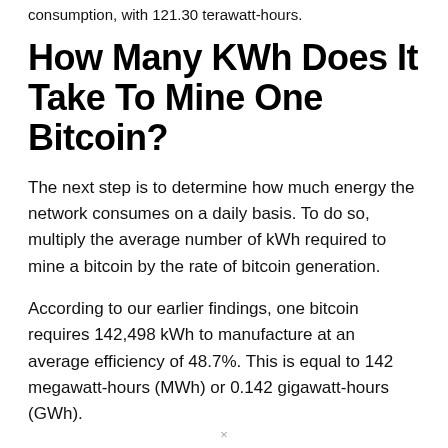consumption, with 121.30 terawatt-hours.
How Many KWh Does It Take To Mine One Bitcoin?
The next step is to determine how much energy the network consumes on a daily basis. To do so, multiply the average number of kWh required to mine a bitcoin by the rate of bitcoin generation.
According to our earlier findings, one bitcoin requires 142,498 kWh to manufacture at an average efficiency of 48.7%. This is equal to 142 megawatt-hours (MWh) or 0.142 gigawatt-hours (GWh).